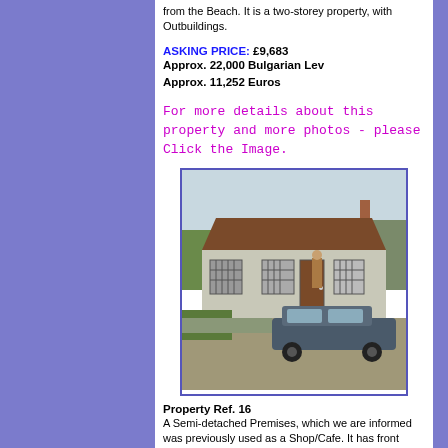from the Beach. It is a two-storey property, with Outbuildings.
ASKING PRICE: £9,683
Approx. 22,000 Bulgarian Lev
Approx. 11,252 Euros
For more details about this property and more photos - please Click the Image.
[Figure (photo): Exterior photo of a semi-detached single-storey premises, previously used as a Shop/Cafe. Shows a low building with tiled roof, barred windows, a wooden door, a person standing in the doorway, and a dark-colored car parked in front on gravel.]
Property Ref. 16
A Semi-detached Premises, which we are informed was previously used as a Shop/Cafe. It has front access door to Two Large Rooms and Rear access to Cellars. There is a side path and garden area at the rear, beyond which is a stream.
ASKING PRICE: £ £5,313
Approx.  12,000 Bulgarian Lev
Approx.  6,143 Euros